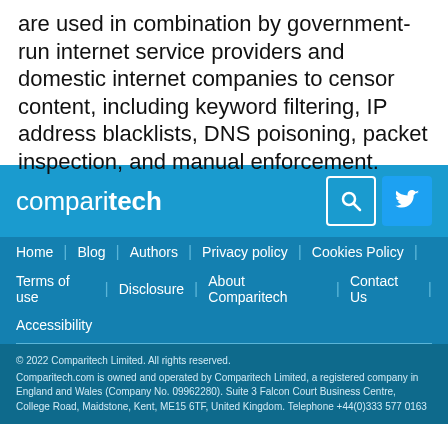are used in combination by government-run internet service providers and domestic internet companies to censor content, including keyword filtering, IP address blacklists, DNS poisoning, packet inspection, and manual enforcement.
[Figure (logo): Comparitech logo in white text on blue background with search and Twitter icons]
Home | Blog | Authors | Privacy policy | Cookies Policy | Terms of use | Disclosure | About Comparitech | Contact Us | Accessibility
© 2022 Comparitech Limited. All rights reserved. Comparitech.com is owned and operated by Comparitech Limited, a registered company in England and Wales (Company No. 09962280). Suite 3 Falcon Court Business Centre, College Road, Maidstone, Kent, ME15 6TF, United Kingdom. Telephone +44(0)333 577 0163